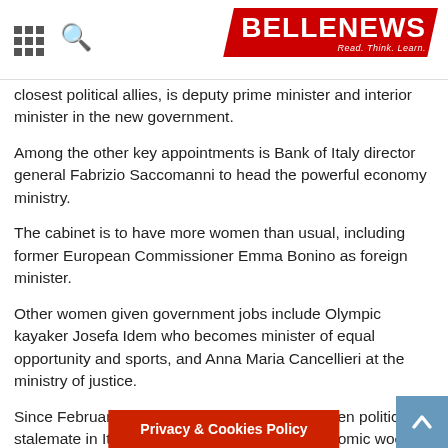BELLENEWS - Read. Think. Learn.
closest political allies, is deputy prime minister and interior minister in the new government.
Among the other key appointments is Bank of Italy director general Fabrizio Saccomanni to head the powerful economy ministry.
The cabinet is to have more women than usual, including former European Commissioner Emma Bonino as foreign minister.
Other women given government jobs include Olympic kayaker Josefa Idem who becomes minister of equal opportunity and sports, and Anna Maria Cancellieri at the ministry of justice.
Since February's inconclusive poll there has been political stalemate in Italy, which is still plagued by economic woes after becoming one of the first eurozone victims of the global financial crisis of 2008.
President Giorgio Napolitano said on Saturday that the government would have the support of bot
Privacy & Cookies Policy